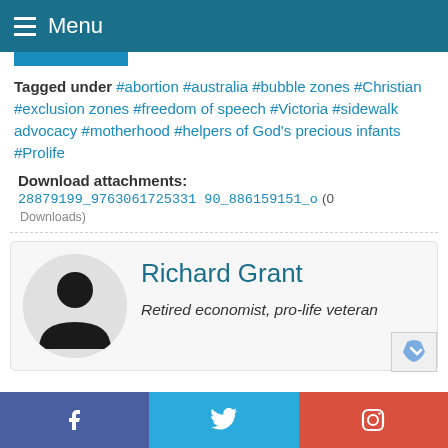Menu
Tagged under #abortion #australia #bubble zones #Christian #exclusion zones #freedom of speech #Victoria #sidewalk advocacy #motherhood #helpers of God's precious infants #Prolife
Download attachments: 28879199_9763061725331 90_886159151_o (0 Downloads)
[Figure (photo): Author profile card with silhouette avatar, name Richard Grant, description Retired economist, pro-life veteran]
Facebook Twitter Instagram social links